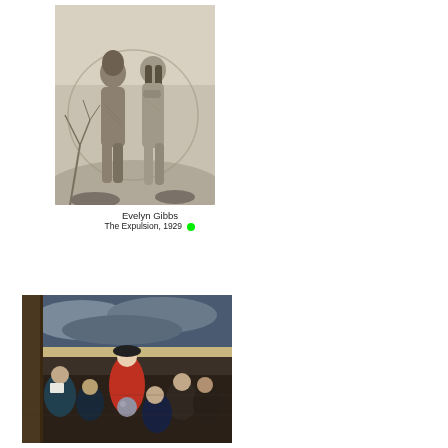[Figure (illustration): A pencil drawing of two nude figures, Adam and Eve, standing together in a landscape with bare branches and foliage. The work is rendered in graphite.]
Evelyn Gibbs
The Expulsion, 1929 •
[Figure (illustration): A painting showing a group of figures on what appears to be a boat deck or dock. A central figure in a red cloak and black hat stands prominently among several seated and kneeling figures in dark clothing. The sky is dramatic with clouds.]